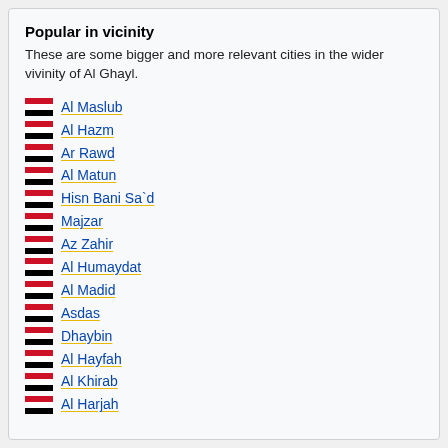Popular in vicinity
These are some bigger and more relevant cities in the wider vivinity of Al Ghayl.
Al Maslub
Al Hazm
Ar Rawd
Al Matun
Hisn Bani Sa`d
Majzar
Az Zahir
Al Humaydat
Al Madid
Asdas
Dhaybin
Al Hayfah
Al Khirab
Al Harjah